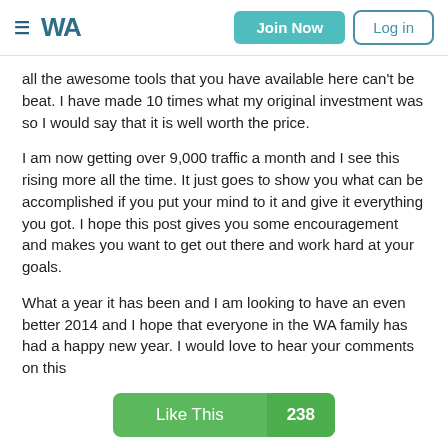≡ WA | Join Now | Log in
all the awesome tools that you have available here can't be beat. I have made 10 times what my original investment was so I would say that it is well worth the price.
I am now getting over 9,000 traffic a month and I see this rising more all the time. It just goes to show you what can be accomplished if you put your mind to it and give it everything you got. I hope this post gives you some encouragement and makes you want to get out there and work hard at your goals.
What a year it has been and I am looking to have an even better 2014 and I hope that everyone in the WA family has had a happy new year. I would love to hear your comments on this
[Figure (other): Like This button with count 238 and a comment box stub below]